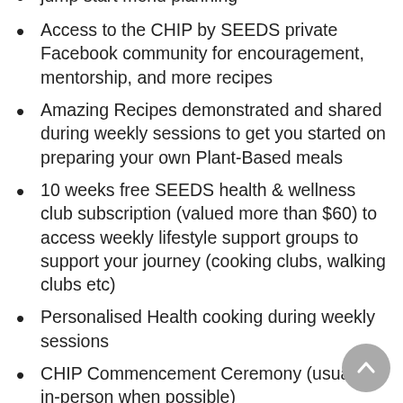jump start menu planning
Access to the CHIP by SEEDS private Facebook community for encouragement, mentorship, and more recipes
Amazing Recipes demonstrated and shared during weekly sessions to get you started on preparing your own Plant-Based meals
10 weeks free SEEDS health & wellness club subscription (valued more than $60) to access weekly lifestyle support groups to support your journey (cooking clubs, walking clubs etc)
Personalised Health cooking during weekly sessions
CHIP Commencement Ceremony (usually in-person when possible)